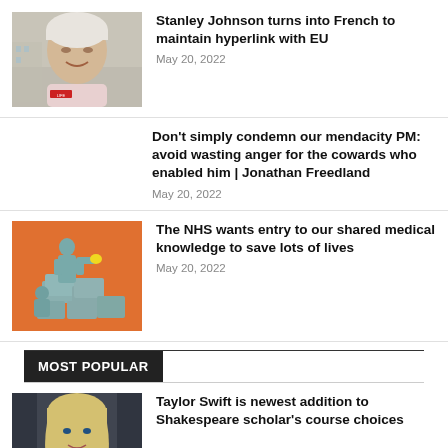[Figure (photo): Photo of Stanley Johnson, elderly man with white hair, smiling, outdoors with building in background]
Stanley Johnson turns into French to maintain hyperlink with EU
May 20, 2022
Don't simply condemn our mendacity PM: avoid wasting anger for the cowards who enabled him | Jonathan Freedland
May 20, 2022
[Figure (illustration): Illustration of NHS workers in teal/cyan scrubs on an orange background with stacked boxes]
The NHS wants entry to our shared medical knowledge to save lots of lives
May 20, 2022
MOST POPULAR
[Figure (photo): Photo of Taylor Swift with blonde hair against dark background]
Taylor Swift is newest addition to Shakespeare scholar's course choices